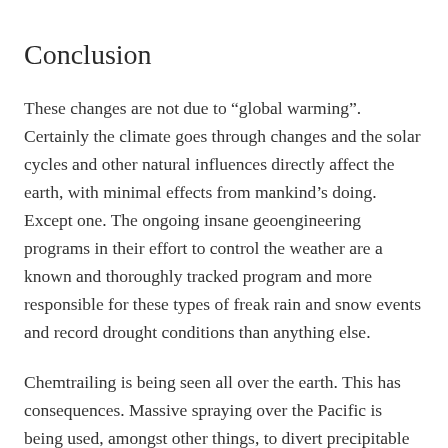Conclusion
These changes are not due to “global warming”. Certainly the climate goes through changes and the solar cycles and other natural influences directly affect the earth, with minimal effects from mankind’s doing. Except one. The ongoing insane geoengineering programs in their effort to control the weather are a known and thoroughly tracked program and more responsible for these types of freak rain and snow events and record drought conditions than anything else.
Chemtrailing is being seen all over the earth. This has consequences. Massive spraying over the Pacific is being used, amongst other things, to divert precipitable clouds and moisture up